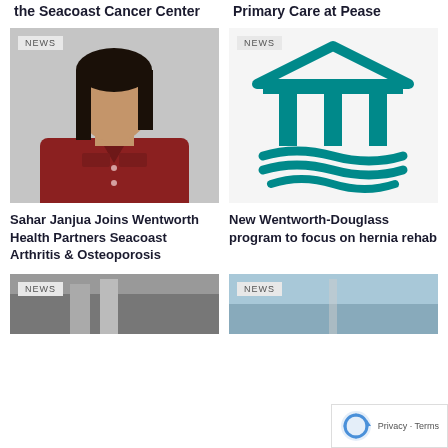the Seacoast Cancer Center
Primary Care at Pease
[Figure (photo): Portrait photo of Sahar Janjua, a woman with long dark hair wearing a red blouse, against a gray background. NEWS badge in top left.]
Sahar Janjua Joins Wentworth Health Partners Seacoast Arthritis & Osteoporosis
[Figure (logo): Teal/turquoise building icon resembling a bank or institution with columns and waves underneath, with NEWS badge in top left.]
New Wentworth-Douglass program to focus on hernia rehab
[Figure (photo): Partial photo, bottom left card. NEWS badge visible.]
[Figure (photo): Partial photo, bottom right card. NEWS badge visible.]